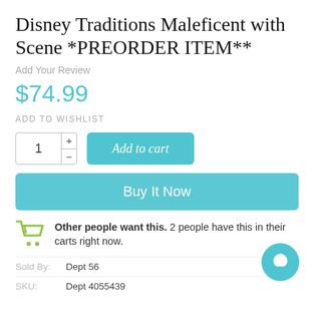Disney Traditions Maleficent with Scene *PREORDER ITEM**
Add Your Review
$74.99
ADD TO WISHLIST
1 + -
Add to cart
Buy It Now
Other people want this. 2 people have this in their carts right now.
Sold By: Dept 56
SKU: Dept 4055439